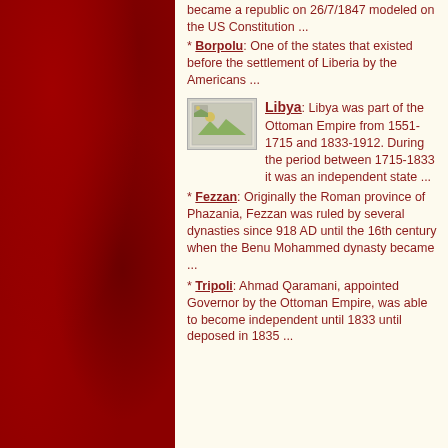[Figure (illustration): Red textured/mottled background panel on the left side of the page]
became a republic on 26/7/1847 modeled on the US Constitution ...
* Borpolu: One of the states that existed before the settlement of Liberia by the Americans ...
[Figure (photo): Small flag thumbnail image placeholder]
Libya: Libya was part of the Ottoman Empire from 1551-1715 and 1833-1912. During the period between 1715-1833 it was an independent state ...
* Fezzan: Originally the Roman province of Phazania, Fezzan was ruled by several dynasties since 918 AD until the 16th century when the Benu Mohammed dynasty became ...
* Tripoli: Ahmad Qaramani, appointed Governor by the Ottoman Empire, was able to become independent until 1833 until deposed in 1835 ...